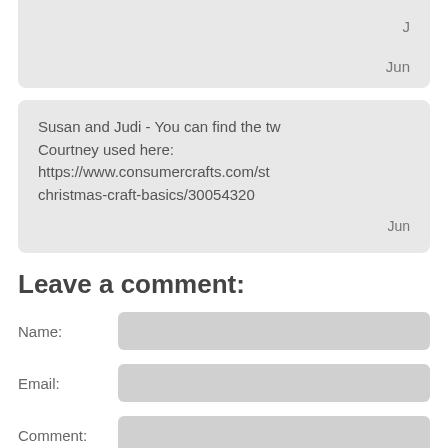J
Jun
Susan and Judi - You can find the tw Courtney used here: https://www.consumercrafts.com/st christmas-craft-basics/300543 20
Jun
Leave a comment:
Name:
Email:
Comment: